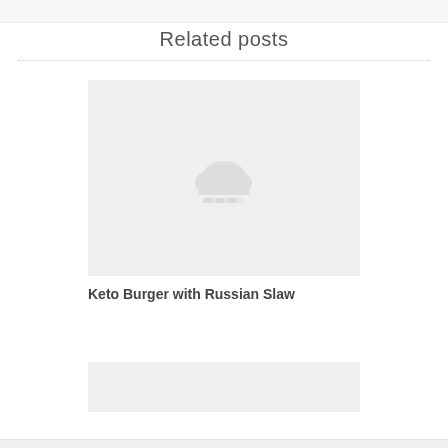Related posts
[Figure (illustration): Placeholder image with a grey cloud upload icon and a loading bar, representing an unloaded image for 'Keto Burger with Russian Slaw']
Keto Burger with Russian Slaw